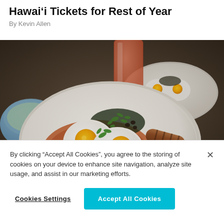Hawai'i Tickets for Rest of Year
By Kevin Allen
[Figure (photo): Close-up photo of a Hawaiian breakfast plate with two sunny-side-up eggs on rice, garnished with cilantro and green onions, grilled sausages, and a bowl with soup in the background along with a glass of orange juice and another plate with eggs in the background.]
By clicking “Accept All Cookies”, you agree to the storing of cookies on your device to enhance site navigation, analyze site usage, and assist in our marketing efforts.
Cookies Settings
Accept All Cookies